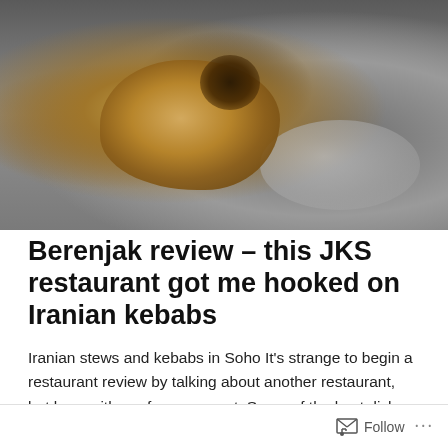[Figure (photo): Close-up photo of a piece of grilled/charred food (kebab) on a metallic plate, with dark charred spots visible on the food.]
Berenjak review – this JKS restaurant got me hooked on Iranian kebabs
Iranian stews and kebabs in Soho It's strange to begin a restaurant review by talking about another restaurant, but bear with me for a moment. Some of the best dishes at Brigadiers, an Indian restaurant in the City, were the kebabs which meant it was immediately noticeable when the kebab chef
Continue reading →
Follow ...